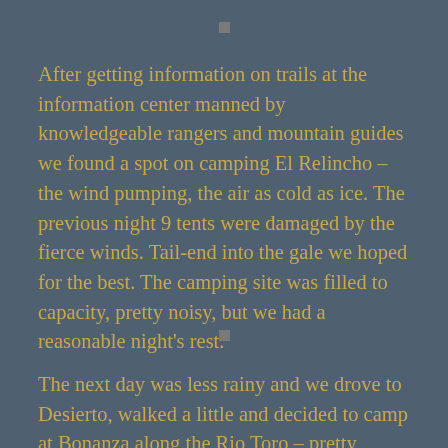After getting information on trails at the information center manned by knowledgeable rangers and mountain guides we found a spot on camping El Relincho – the wind pumping, the air as cold as ice. The previous night 9 tents were damaged by the fierce winds. Tail-end into the gale we hoped for the best. The camping site was filled to capacity, pretty noisy, but we had a reasonable night's rest.
The next day was less rainy and we drove to Desierto, walked a little and decided to camp at Bonanza along the Rio Toro – pretty sheltered